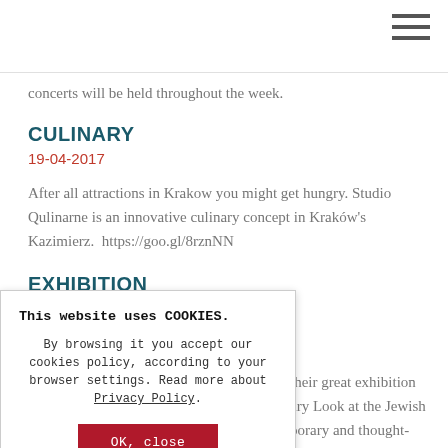concerts will be held throughout the week.
CULINARY
19-04-2017
After all attractions in Krakow you might get hungry. Studio Qulinarne is an innovative culinary concept in Kraków's Kazimierz.  https://goo.gl/8rznNN
EXHIBITION
This website uses COOKIES.

By browsing it you accept our cookies policy, according to your browser settings. Read more about Privacy Policy.

OK, close
their great exhibition ary Look at the Jewish porary and thought- reflecting a great deal of past, but influencing the